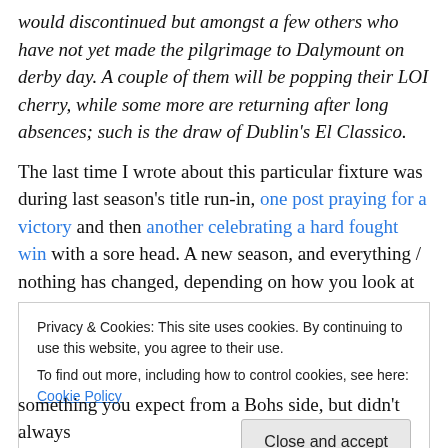would discontinued but amongst a few others who have not yet made the pilgrimage to Dalymount on derby day. A couple of them will be popping their LOI cherry, while some more are returning after long absences; such is the draw of Dublin's El Classico.
The last time I wrote about this particular fixture was during last season's title run-in, one post praying for a victory and then another celebrating a hard fought win with a sore head. A new season, and everything / nothing has changed, depending on how you look at it. Rovers have
Privacy & Cookies: This site uses cookies. By continuing to use this website, you agree to their use.
To find out more, including how to control cookies, see here: Cookie Policy
something you expect from a Bohs side, but didn't always